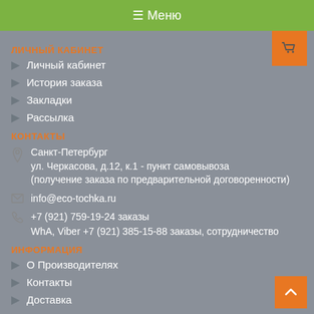☰ Меню
ЛИЧНЫЙ КАБИНЕТ
Личный кабинет
История заказа
Закладки
Рассылка
КОНТАКТЫ
Санкт-Петербург ул. Черкасова, д.12, к.1 - пункт самовывоза (получение заказа по предварительной договоренности)
info@eco-tochka.ru
+7 (921) 759-19-24 заказы WhA, Viber +7 (921) 385-15-88 заказы, сотрудничество
ИНФОРМАЦИЯ
О Производителях
Контакты
Доставка
Условия соглашения